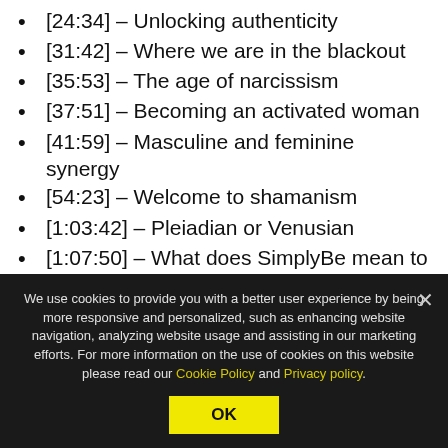[24:34] – Unlocking authenticity
[31:42] – Where we are in the blackout
[35:53] – The age of narcissism
[37:51] – Becoming an activated woman
[41:59] – Masculine and feminine synergy
[54:23] – Welcome to shamanism
[1:03:42] – Pleiadian or Venusian
[1:07:50] – What does SimplyBe mean to Shaman Durek?
We use cookies to provide you with a better user experience by being more responsive and personalized, such as enhancing website navigation, analyzing website usage and assisting in our marketing efforts. For more information on the use of cookies on this website please read our Cookie Policy and Privacy policy.